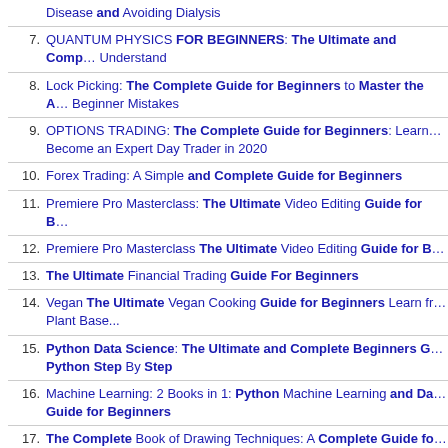Disease and Avoiding Dialysis
7. QUANTUM PHYSICS FOR BEGINNERS: The Ultimate and Comp... Understand
8. Lock Picking: The Complete Guide for Beginners to Master the A... Beginner Mistakes
9. OPTIONS TRADING: The Complete Guide for Beginners: Learn Become an Expert Day Trader in 2020
10. Forex Trading: A Simple and Complete Guide for Beginners
11. Premiere Pro Masterclass: The Ultimate Video Editing Guide for B...
12. Premiere Pro Masterclass The Ultimate Video Editing Guide for B...
13. The Ultimate Financial Trading Guide For Beginners
14. Vegan The Ultimate Vegan Cooking Guide for Beginners Learn fr... Plant Base...
15. Python Data Science: The Ultimate and Complete Beginners G... Python Step By Step
16. Machine Learning: 2 Books in 1: Python Machine Learning and Da... Guide for Beginners
17. The Complete Book of Drawing Techniques: A Complete Guide fo...
18. Python for Data Analysis A Complete Guide for Beginners, Inclu... Analysis
19. ...